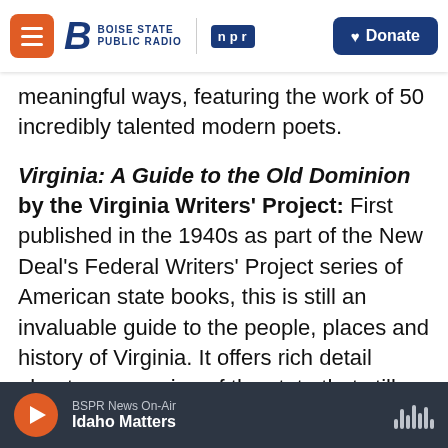Boise State Public Radio | npr | Donate
meaningful ways, featuring the work of 50 incredibly talented modern poets.
Virginia: A Guide to the Old Dominion by the Virginia Writers' Project: First published in the 1940s as part of the New Deal's Federal Writers' Project series of American state books, this is still an invaluable guide to the people, places and history of Virginia. It offers rich detail about every region of the state that still rings true today. The photographs of mid-20th century Virginia — its people, historic buildings and sites, and its natural beauty — help visitors appreciate how much has
BSPR News On-Air | Idaho Matters